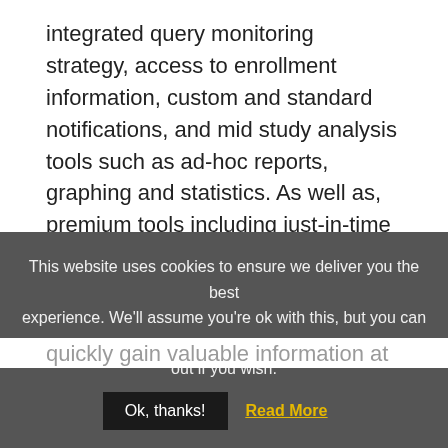integrated query monitoring strategy, access to enrollment information, custom and standard notifications, and mid study analysis tools such as ad-hoc reports, graphing and statistics. As well as, premium tools including just-in-time randomization, inventory management with automatic reordering, invoicing, and document management

Efficient custom dashboards allow users to quickly gain valuable information at various
This website uses cookies to ensure we deliver you the best experience. We'll assume you're ok with this, but you can opt-out if you wish. Ok, thanks! Read More